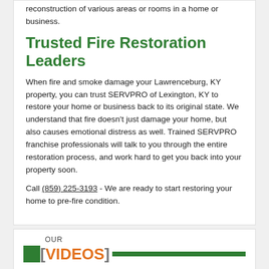reconstruction of various areas or rooms in a home or business.
Trusted Fire Restoration Leaders
When fire and smoke damage your Lawrenceburg, KY property, you can trust SERVPRO of Lexington, KY to restore your home or business back to its original state. We understand that fire doesn't just damage your home, but also causes emotional distress as well. Trained SERVPRO franchise professionals will talk to you through the entire restoration process, and work hard to get you back into your property soon.
Call (859) 225-3193 - We are ready to start restoring your home to pre-fire condition.
OUR [VIDEOS]
[Figure (screenshot): Video thumbnail showing partial face with text 'Prolog Video!']